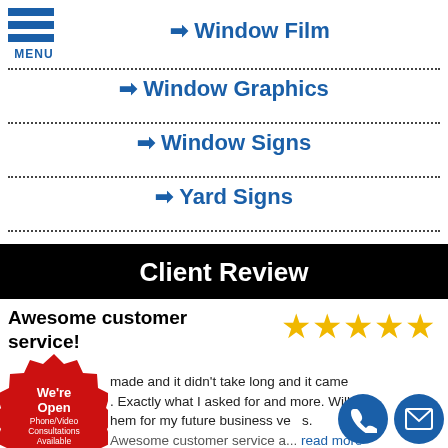[Figure (logo): Hamburger menu icon with three blue horizontal bars and MENU label below]
➡ Window Film
➡ Window Graphics
➡ Window Signs
➡ Yard Signs
Client Review
Awesome customer service!
[Figure (infographic): Five gold star rating]
[Figure (infographic): Red badge starburst: We're Open Phone/Video Consultations Available]
made and it didn't take long and it came . Exactly what I asked for and more. Will hem for my future business ve s. Awesome customer service a... read more